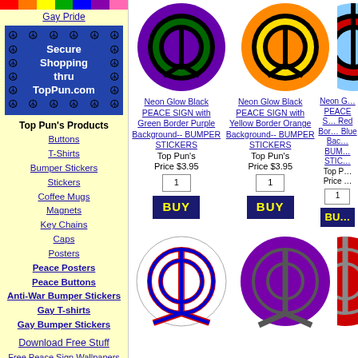[Figure (illustration): Rainbow colored bar strip]
Gay Pride
[Figure (illustration): Peace sign icons surrounding a blue box with 'Secure Shopping thru TopPun.com']
Top Pun's Products
Buttons
T-Shirts
Bumper Stickers
Stickers
Coffee Mugs
Magnets
Key Chains
Caps
Posters
Peace Posters
Peace Buttons
Anti-War Bumper Stickers
Gay T-shirts
Gay Bumper Stickers
Download Free Stuff
Free Peace Sign Wallpapers
Free Peace Sign Posters
All Free Cool Wallpapers
All Free Printable Posters
Read Top Pun's
Puns Not Guns Peace Blog
for peace sign of the day plus other cool peace stuff!
[Figure (illustration): Purple peace sign with green border on green background]
Neon Glow Black PEACE SIGN with Green Border Purple Background-- BUMPER STICKERS
Top Pun's Price $3.95
[Figure (illustration): Orange peace sign with yellow border on orange background]
Neon Glow Black PEACE SIGN with Yellow Border Orange Background-- BUMPER STICKERS
Top Pun's Price $3.95
[Figure (illustration): Partially visible peace sign with red border blue background]
Neon Glow Black PEACE SIGN with Red Border Blue Background-- BUMPER STICKERS
[Figure (illustration): White peace sign with red/blue border]
[Figure (illustration): Purple peace sign solid purple]
[Figure (illustration): Partially visible red peace sign]